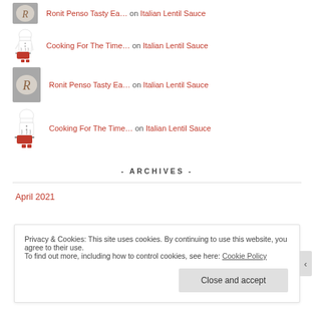Ronit Penso Tasty Ea… on Italian Lentil Sauce
Cooking For The Time… on Italian Lentil Sauce
Ronit Penso Tasty Ea… on Italian Lentil Sauce
Cooking For The Time… on Italian Lentil Sauce
- ARCHIVES -
April 2021
Privacy & Cookies: This site uses cookies. By continuing to use this website, you agree to their use. To find out more, including how to control cookies, see here: Cookie Policy
Close and accept